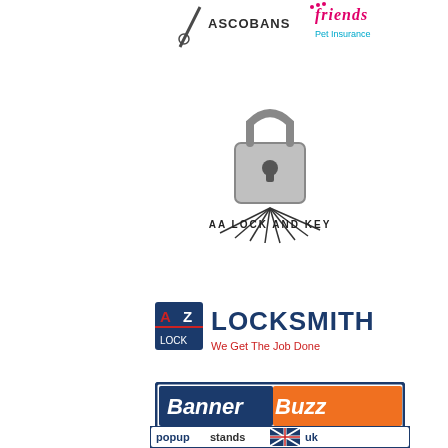[Figure (logo): ASCOBANS logo with text ASCOBANS]
[Figure (logo): Friends Pet Insurance logo in pink/magenta cursive text]
[Figure (logo): AA Lock and Key logo with padlock graphic and radiating lines]
[Figure (logo): AZ Locksmith logo - We Get The Job Done, with A/Z in red and navy block]
[Figure (logo): BannerBuzz logo - make it visible, blue and orange rectangular banner]
[Figure (logo): Popup Stands UK logo with UK flag diagonal graphic]